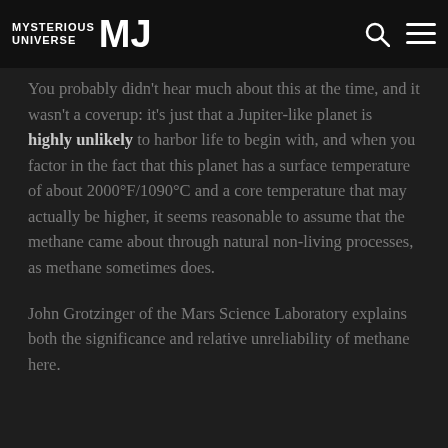MYSTERIOUS UNIVERSE MU
You probably didn't hear much about this at the time, and it wasn't a coverup: it's just that a Jupiter-like planet is highly unlikely to harbor life to begin with, and when you factor in the fact that this planet has a surface temperature of about 2000°F/1090°C and a core temperature that may actually be higher, it seems reasonable to assume that the methane came about through natural non-living processes, as methane sometimes does.
John Grotzinger of the Mars Science Laboratory explains both the significance and relative unreliability of methane here.